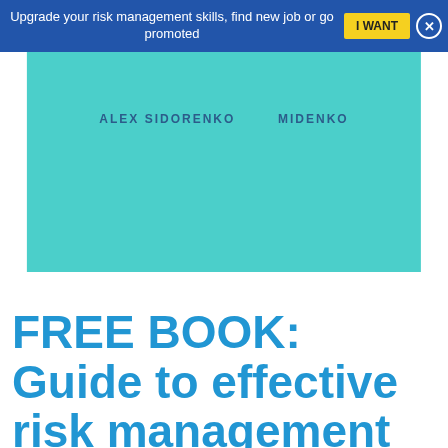[Figure (screenshot): A UI banner overlay at the top of the page with blue background reading 'Upgrade your risk management skills, find new job or go promoted' with a yellow 'I WANT' button and a close (X) button. Below is a book cover thumbnail with teal/turquoise background showing author names ALEX SIDORENKO and MIDENKO.]
FREE BOOK: Guide to effective risk management (100000+ downloads)